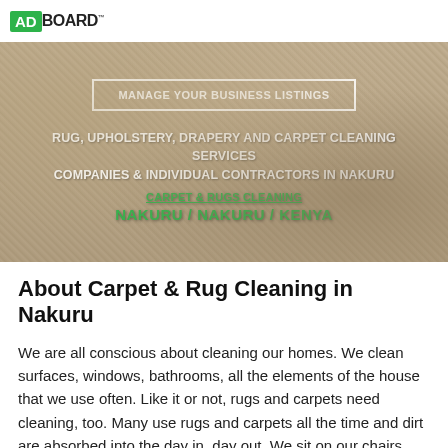ADBOARD
[Figure (photo): Hero banner with carpet/rug texture background, containing a 'Manage Your Business Listings' button, heading text about rug, upholstery, drapery and carpet cleaning services companies and individual contractors in Nakuru, and green hyperlinked text 'CARPET & RUGS CLEANING NAKURU / NAKURU / KENYA']
About Carpet & Rug Cleaning in Nakuru
We are all conscious about cleaning our homes. We clean surfaces, windows, bathrooms, all the elements of the house that we use often. Like it or not, rugs and carpets need cleaning, too. Many use rugs and carpets all the time and dirt are absorbed into the day in, day out. We sit on our chairs every day and enjoy our downtime. Upholstery gets dirty too.